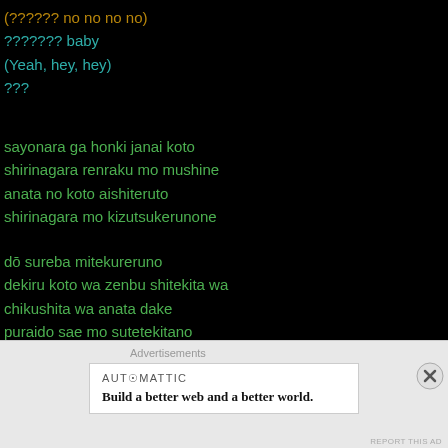(?????? no no no no)
??????? baby
(Yeah, hey, hey)
???
sayonara ga honki janai koto
shirinagara renraku mo mushine
anata no koto aishiteruto
shirinagara mo kizutsukerunone
dō sureba mitekureruno
dekiru koto wa zenbu shitekita wa
chikushita wa anata dake
puraido sae mo sutetekitano
Don't wanna be withōut yōu (yeah)
Advertisements
AUTOMATTIC
Build a better web and a better world.